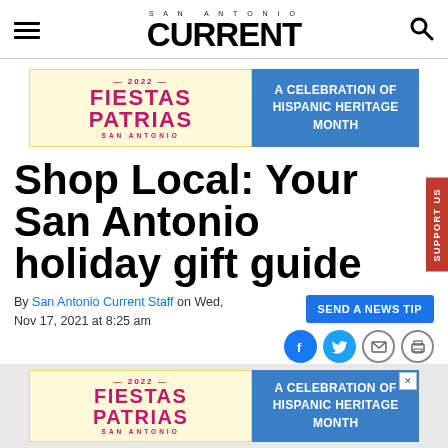SAN ANTONIO CURRENT
[Figure (other): 2022 Fiestas Patrias San Antonio banner ad - A Celebration of Hispanic Heritage Month]
Shop Local: Your San Antonio holiday gift guide
By San Antonio Current Staff on Wed, Nov 17, 2021 at 8:25 am
[Figure (other): 2022 Fiestas Patrias San Antonio bottom banner ad - A Celebration of Hispanic Heritage Month]